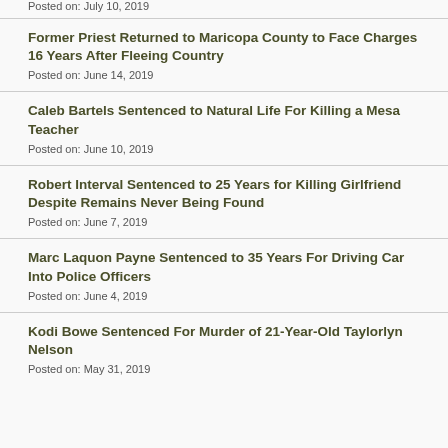Posted on: July 10, 2019
Former Priest Returned to Maricopa County to Face Charges 16 Years After Fleeing Country
Posted on: June 14, 2019
Caleb Bartels Sentenced to Natural Life For Killing a Mesa Teacher
Posted on: June 10, 2019
Robert Interval Sentenced to 25 Years for Killing Girlfriend Despite Remains Never Being Found
Posted on: June 7, 2019
Marc Laquon Payne Sentenced to 35 Years For Driving Car Into Police Officers
Posted on: June 4, 2019
Kodi Bowe Sentenced For Murder of 21-Year-Old Taylorlyn Nelson
Posted on: May 31, 2019